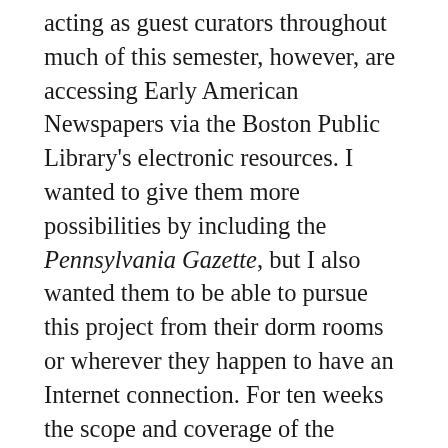acting as guest curators throughout much of this semester, however, are accessing Early American Newspapers via the Boston Public Library's electronic resources. I wanted to give them more possibilities by including the Pennsylvania Gazette, but I also wanted them to be able to pursue this project from their dorm rooms or wherever they happen to have an Internet connection. For ten weeks the scope and coverage of the project will shift. Eventually, when I return to selecting advertisements myself, I will digitally access newspapers from the reading room at the American Antiquarian Society. This project will take on new contours. New England and the Middle Atlantic will no longer be privileged in